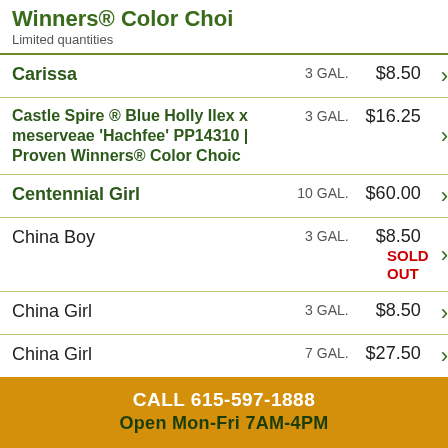Winners® Color Choi
Limited quantities
| Name | Size | Price |
| --- | --- | --- |
| Carissa | 3 GAL. | $8.50 |
| Castle Spire ® Blue Holly Ilex x meserveae 'Hachfee' PP14310 | Proven Winners® Color Choic | 3 GAL. | $16.25 |
| Centennial Girl | 10 GAL. | $60.00 |
| China Boy | 3 GAL. | $8.50 SOLD OUT |
| China Girl | 3 GAL. | $8.50 |
| China Girl | 7 GAL. | $27.50 |
| Chinese | 3 GAL. | $5.00 |
CALL 615-597-1888
Open Mon-Fri 7AM-4PM